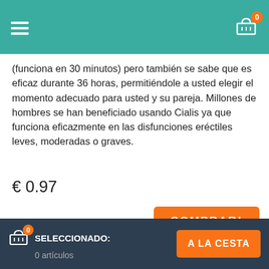Navigation bar with hamburger menu and cart icon showing 0 items
(funciona en 30 minutos) pero también se sabe que es eficaz durante 36 horas, permitiéndole a usted elegir el momento adecuado para usted y su pareja. Millones de hombres se han beneficiado usando Cialis ya que funciona eficazmente en las disfunciones eréctiles leves, moderadas o graves.
€ 0.97
COMPRAR!
Genérico Cialis Black
[Figure (photo): Black oval pill with C80 marking]
Cialis Black, como su versión genérica llamada Vidalista Black fabricada por Centurion Laboratories, es la medicina que se usa como tratamiento para los que hayan detectado los
SELECCIONADO: 0 artículos | A LA CESTA